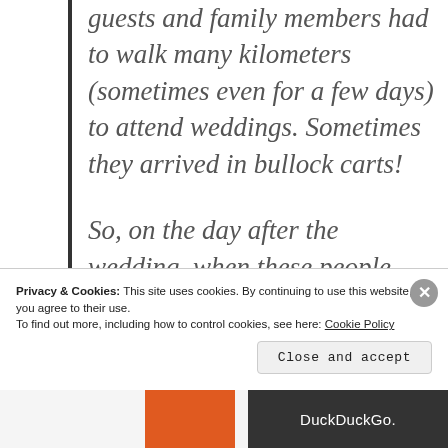guests and family members had to walk many kilometers (sometimes even for a few days) to attend weddings. Sometimes they arrived in bullock carts!
So, on the day after the wedding, when these people had to go back home, the bride's family usually packed baskets
Privacy & Cookies: This site uses cookies. By continuing to use this website, you agree to their use. To find out more, including how to control cookies, see here: Cookie Policy
Close and accept